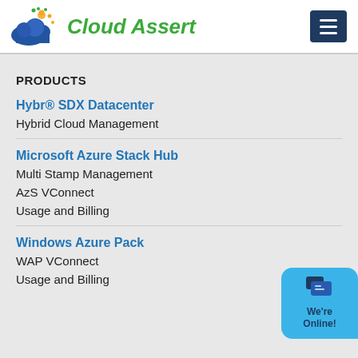[Figure (logo): Cloud Assert logo: blue cloud with orange/green sun rays and green italic text 'Cloud Assert']
PRODUCTS
Hybr® SDX Datacenter
Hybrid Cloud Management
Microsoft Azure Stack Hub
Multi Stamp Management
AzS VConnect
Usage and Billing
Windows Azure Pack
WAP VConnect
Usage and Billing